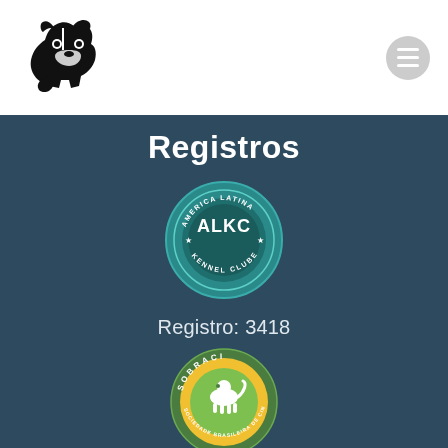[Figure (logo): Husky dog silhouette logo in black, top-left of page header]
[Figure (logo): Hamburger menu icon button, circular gray background, top-right of page header]
Registros
[Figure (logo): ALKC - America Latina Kennel Clube circular seal logo in teal/green colors]
Registro: 3418
[Figure (logo): SOBRACI - Sociedade Brasileira de Cinofilia circular logo in green and yellow]
Registro:15062